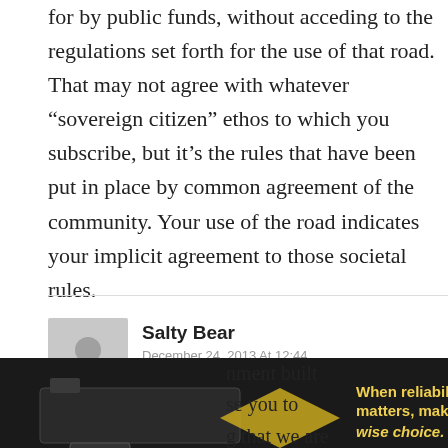for by public funds, without acceding to the regulations set forth for the use of that road. That may not agree with whatever “sovereign citizen” ethos to which you subscribe, but it’s the rules that have been put in place by common agreement of the community. Your use of the road indicates your implicit agreement to those societal rules.
Salty Bear
December 24, 2013 At 12:44
Wrong. We have the right to travel, and the government has no business telling us we can't
[Figure (photo): Advertisement for WISE brand showing firearms/rifle magazine with text: 'When reliability matters, make the wise choice. Shop Dealers']
nment built se you to g that we are ss we are